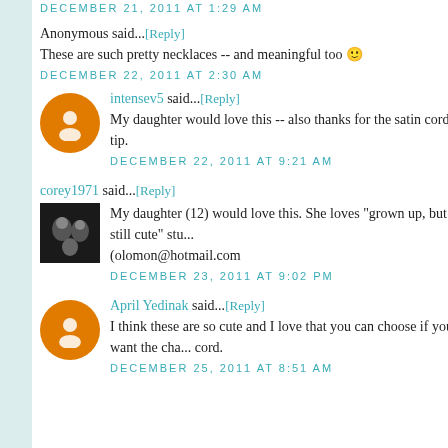DECEMBER 21, 2011 AT 1:29 AM
Anonymous said...[Reply]
These are such pretty necklaces -- and meaningful too 🙂
DECEMBER 22, 2011 AT 2:30 AM
intensev5 said...[Reply]
My daughter would love this -- also thanks for the satin cord tip.
DECEMBER 22, 2011 AT 9:21 AM
corey1971 said...[Reply]
My daughter (12) would love this. She loves "grown up, but still cute" stu... (olomon@hotmail.com
DECEMBER 23, 2011 AT 9:02 PM
April Yedinak said...[Reply]
I think these are so cute and I love that you can choose if you want the cha... cord.
DECEMBER 25, 2011 AT 8:51 AM